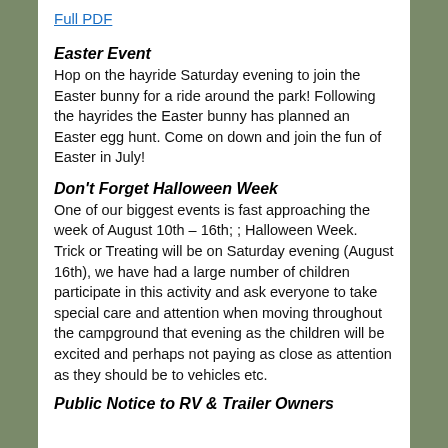Full PDF
Easter Event
Hop on the hayride Saturday evening to join the Easter bunny for a ride around the park! Following the hayrides the Easter bunny has planned an Easter egg hunt. Come on down and join the fun of Easter in July!
Don't Forget Halloween Week
One of our biggest events is fast approaching the week of August 10th – 16th; ; Halloween Week.
Trick or Treating will be on Saturday evening (August 16th), we have had a large number of children participate in this activity and ask everyone to take special care and attention when moving throughout the campground that evening as the children will be excited and perhaps not paying as close as attention as they should be to vehicles etc.
Public Notice to RV & Trailer Owners